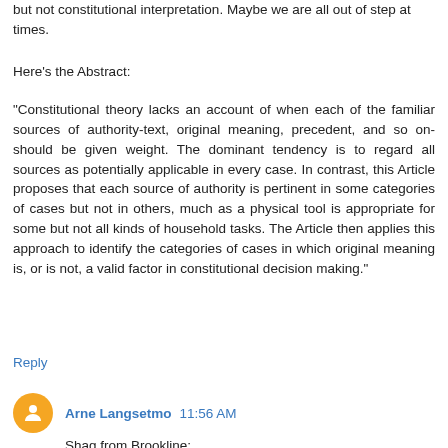but not constitutional interpretation. Maybe we are all out of step at times.
Here's the Abstract:
"Constitutional theory lacks an account of when each of the familiar sources of authority-text, original meaning, precedent, and so on- should be given weight. The dominant tendency is to regard all sources as potentially applicable in every case. In contrast, this Article proposes that each source of authority is pertinent in some categories of cases but not in others, much as a physical tool is appropriate for some but not all kinds of household tasks. The Article then applies this approach to identify the categories of cases in which original meaning is, or is not, a valid factor in constitutional decision making."
Reply
Arne Langsetmo 11:56 AM
Shag from Brookline: